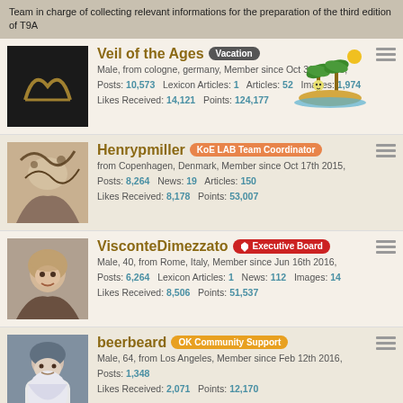Team in charge of collecting relevant informations for the preparation of the third edition of T9A
Veil of the Ages [Vacation] Male, from cologne, germany, Member since Oct 31st 2015, Posts: 10,573 Lexicon Articles: 1 Articles: 52 Images: 1,974 Likes Received: 14,121 Points: 124,177
Henrypmiller [KoE LAB Team Coordinator] from Copenhagen, Denmark, Member since Oct 17th 2015, Posts: 8,264 News: 19 Articles: 150 Likes Received: 8,178 Points: 53,007
VisconteDimezzato [Executive Board] Male, 40, from Rome, Italy, Member since Jun 16th 2016, Posts: 6,264 Lexicon Articles: 1 News: 112 Images: 14 Likes Received: 8,506 Points: 51,537
beerbeard [OK Community Support] Male, 64, from Los Angeles, Member since Feb 12th 2016, Posts: 1,348 Likes Received: 2,071 Points: 12,170
AndyL [T9A Vision Team] Male, 38, from Finland, Member since Mar 5th 2020,